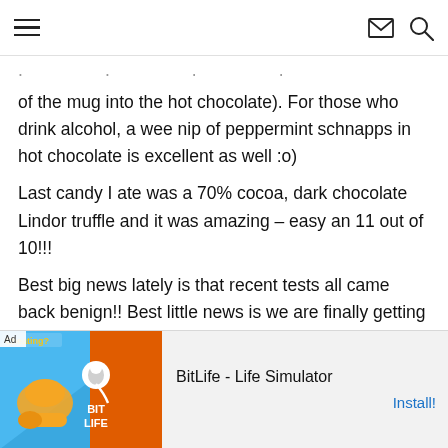navigation header with hamburger menu, envelope icon, and search icon
of the mug into the hot chocolate). For those who drink alcohol, a wee nip of peppermint schnapps in hot chocolate is excellent as well :o)
Last candy I ate was a 70% cocoa, dark chocolate Lindor truffle and it was amazing – easy an 11 out of 10!!!
Best big news lately is that recent tests all came back benign!! Best little news is we are finally getting winter-ish weather, so the ski resort near me can start making snow!! Have an awesome day, Janae :o)
[Figure (screenshot): Advertisement banner for BitLife - Life Simulator app with Ad label, app icon showing muscle/cheating graphic on blue/orange background with BitLife logo, and Install button]